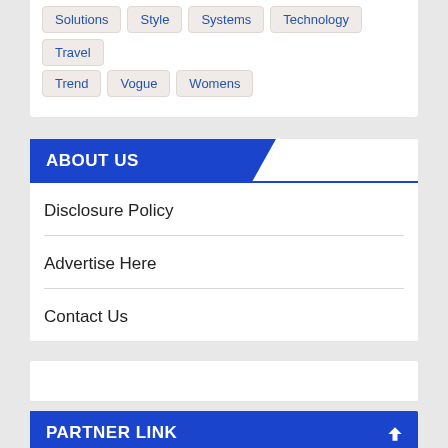Solutions
Style
Systems
Technology
Travel
Trend
Vogue
Womens
ABOUT US
Disclosure Policy
Advertise Here
Contact Us
PARTNER LINK